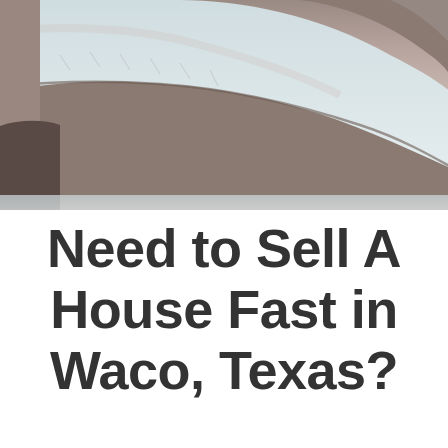[Figure (photo): Close-up photograph of a human hand held flat, palm facing down, fingers closed together, seen from the side against a light blue-grey background. The hand occupies the upper portion of the image.]
Need to Sell A House Fast in Waco, Texas?